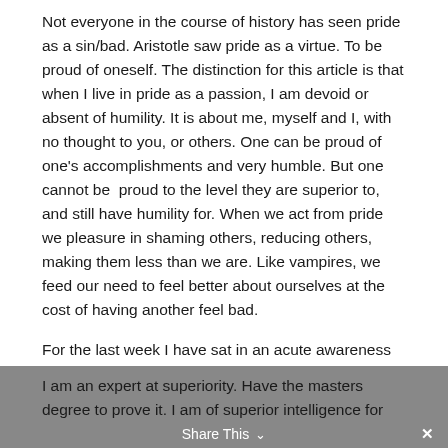Not everyone in the course of history has seen pride as a sin/bad. Aristotle saw pride as a virtue. To be proud of oneself. The distinction for this article is that when I live in pride as a passion, I am devoid or absent of humility. It is about me, myself and I, with no thought to you, or others. One can be proud of one’s accomplishments and very humble. But one cannot be  proud to the level they are superior to, and still have humility for. When we act from pride we pleasure in shaming others, reducing others, making them less than we are. Like vampires, we feed our need to feel better about ourselves at the cost of having another feel bad.
For the last week I have sat in an acute awareness of how pride shows up in my life. Oh⋯ my⋯gawd⋯.!!! Ouch.
I am an expert at superiority. Have the masters degree to prove it. I am of superior intelligence for sure, which
Share This ∨